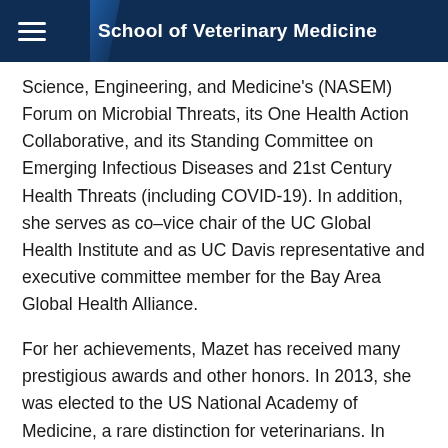School of Veterinary Medicine
Science, Engineering, and Medicine's (NASEM) Forum on Microbial Threats, its One Health Action Collaborative, and its Standing Committee on Emerging Infectious Diseases and 21st Century Health Threats (including COVID-19). In addition, she serves as co–vice chair of the UC Global Health Institute and as UC Davis representative and executive committee member for the Bay Area Global Health Alliance.
For her achievements, Mazet has received many prestigious awards and other honors. In 2013, she was elected to the US National Academy of Medicine, a rare distinction for veterinarians. In 2021, she was named one of the 16 Women Restoring the Earth by the Global Landscapes Forum and received the UC Davis Chancellor's Award for International Engagement.